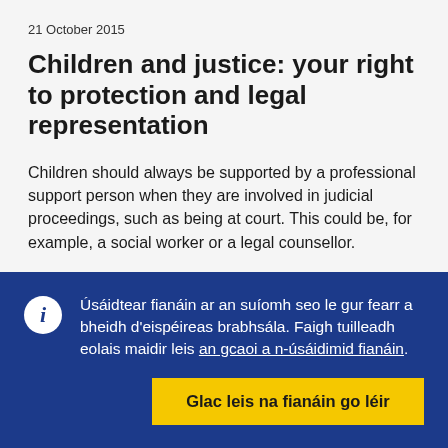21 October 2015
Children and justice: your right to protection and legal representation
Children should always be supported by a professional support person when they are involved in judicial proceedings, such as being at court. This could be, for example, a social worker or a legal counsellor.
Úsáidtear fianáin ar an suíomh seo le gur fearr a bheidh d'eispéireas brabhsála. Faigh tuilleadh eolais maidir leis an gcaoi a n-úsáidimid fianáin.
Glac leis na fianáin go léir
Ná glac ach leis na fianáin riachtanacha